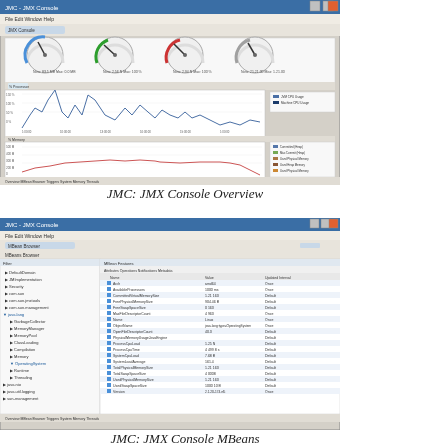[Figure (screenshot): JMC JMX Console Overview screenshot showing gauge dials at top and two time-series charts below for CPU and Memory usage with legends]
JMC: JMX Console Overview
[Figure (screenshot): JMC JMX Console MBeans screenshot showing MBean Browser tree on left and MBean Features attributes panel on right with a list of JVM attributes and values]
JMC: JMX Console MBeans